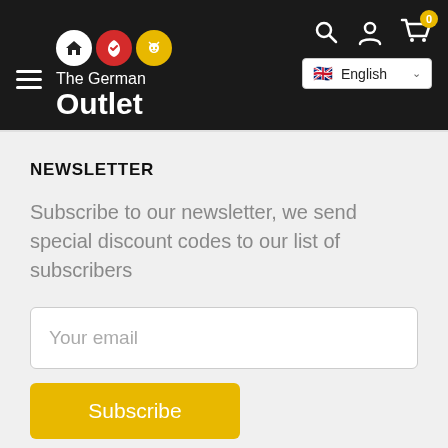[Figure (logo): The German Outlet website header with logo (house icon, red shield icon, yellow cat icon), navigation icons (search, user, cart with 0 badge), and English language selector. Dark/black background.]
NEWSLETTER
Subscribe to our newsletter, we send special discount codes to our list of subscribers
[Figure (screenshot): Email input field with placeholder text 'Your email', a yellow Subscribe button, and a red circular close button with an X mark]